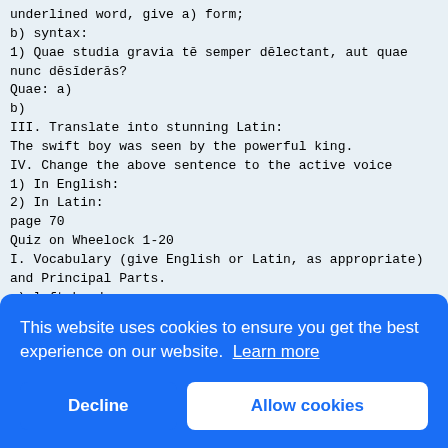underlined word, give a) form;
b) syntax:
1) Quae studia gravia tē semper dēlectant, aut quae nunc dēsīderās?
Quae: a)
b)
III. Translate into stunning Latin:
The swift boy was seen by the powerful king.
IV. Change the above sentence to the active voice
1) In English:
2) In Latin:
page 70
Quiz on Wheelock 1-20
I. Vocabulary (give English or Latin, as appropriate) and Principal Parts.
a) left-hand
b) knee
c) ____________ discēdere _____________ _____________ =
______________
II. Identify AND translate the following forms:
dēfēnsa erat:
they
III.
unde
b) s
1) A
quā:
b)
2) W
sumu
IV.
Whose small hands lacked feeling?
[Figure (screenshot): Cookie consent overlay dialog with blue background. Text reads: 'This website uses cookies to ensure you get the best experience on our website. Learn more'. Two buttons: 'Decline' (left) and 'Allow cookies' (right, white background with blue text).]